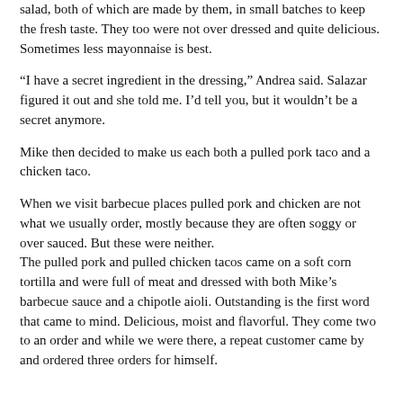salad, both of which are made by them, in small batches to keep the fresh taste. They too were not over dressed and quite delicious. Sometimes less mayonnaise is best.
“I have a secret ingredient in the dressing,” Andrea said. Salazar figured it out and she told me. I’d tell you, but it wouldn’t be a secret anymore.
Mike then decided to make us each both a pulled pork taco and a chicken taco.
When we visit barbecue places pulled pork and chicken are not what we usually order, mostly because they are often soggy or over sauced. But these were neither.
The pulled pork and pulled chicken tacos came on a soft corn tortilla and were full of meat and dressed with both Mike’s barbecue sauce and a chipotle aioli. Outstanding is the first word that came to mind. Delicious, moist and flavorful. They come two to an order and while we were there, a repeat customer came by and ordered three orders for himself.